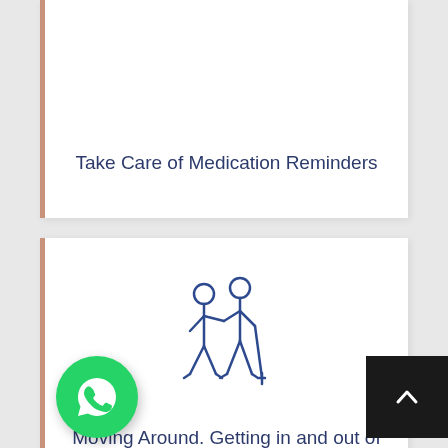[Figure (illustration): Icon of medication/pills visible at top of first card (partially cropped)]
Take Care of Medication Reminders
[Figure (illustration): Icon of two elderly people walking, one with a cane]
Moving Around. Getting in and out of the Bed or Shower
[Figure (illustration): Icon of grocery bag with food items (partially visible at bottom)]
[Figure (illustration): WhatsApp button icon in green circle]
[Figure (illustration): Scroll to top button with upward chevron on dark background]